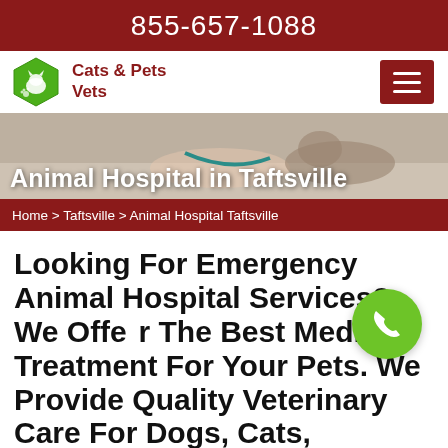855-657-1088
[Figure (logo): Cats & Pets Vets logo with green hexagon containing cat silhouette and paw print, beside bold dark red text reading Cats & Pets Vets]
[Figure (photo): Hero image showing a hand with stethoscope examining a tabby cat on white background with overlay title text Animal Hospital in Taftsville]
Animal Hospital in Taftsville
Home > Taftsville > Animal Hospital Taftsville
Looking For Emergency Animal Hospital Services? We Offer The Best Medical Treatment For Your Pets. We Provide Quality Veterinary Care For Dogs, Cats, Exotics, Reptiles, And